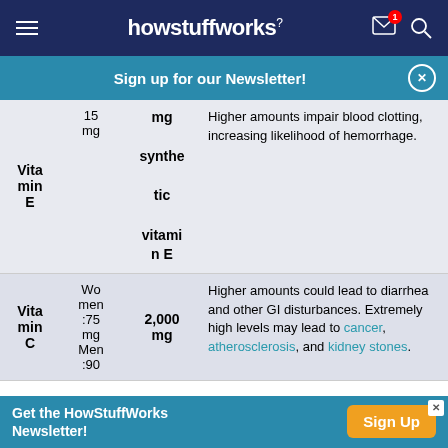howstuffworks
Sign up for our Newsletter!
| Vitamin | RDA | UL | Effects of Excess |
| --- | --- | --- | --- |
| Vitamin E | 15 mg | 1,000 mg synthetic vitamin E | Higher amounts impair blood clotting, increasing likelihood of hemorrhage. |
| Vitamin C | Women: 75 mg Men: 90 | 2,000 mg | Higher amounts could lead to diarrhea and other GI disturbances. Extremely high levels may lead to cancer, atherosclerosis, and kidney stones. |
Get the HowStuffWorks Newsletter!